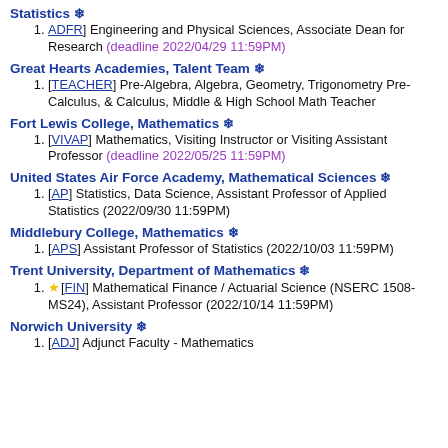Statistics ❄
[ADFR] Engineering and Physical Sciences, Associate Dean for Research (deadline 2022/04/29 11:59PM)
Great Hearts Academies, Talent Team ❄
[TEACHER] Pre-Algebra, Algebra, Geometry, Trigonometry Pre-Calculus, & Calculus, Middle & High School Math Teacher
Fort Lewis College, Mathematics ❄
[VIVAP] Mathematics, Visiting Instructor or Visiting Assistant Professor (deadline 2022/05/25 11:59PM)
United States Air Force Academy, Mathematical Sciences ❄
[AP] Statistics, Data Science, Assistant Professor of Applied Statistics (2022/09/30 11:59PM)
Middlebury College, Mathematics ❄
[APS] Assistant Professor of Statistics (2022/10/03 11:59PM)
Trent University, Department of Mathematics ❄
★[FIN] Mathematical Finance / Actuarial Science (NSERC 1508-MS24), Assistant Professor (2022/10/14 11:59PM)
Norwich University ❄
[ADJ] Adjunct Faculty - Mathematics